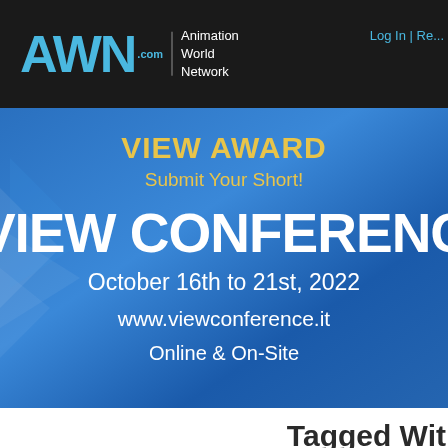AWN.com | Animation World Network | Log In | Re...
[Figure (screenshot): VIEW AWARD Submit Your Short! VIEW CONFERENCE October 16th to 21st, 2022 www.viewconference.it Online & On-Site - promotional banner with blue gradient background]
HOME | NEWS | BLOGS | ANIMATIONWORLD
Tagged Wit...